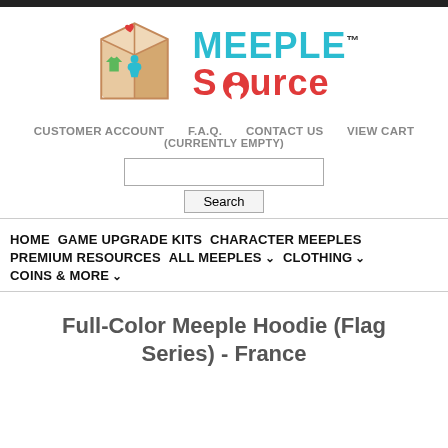[Figure (logo): Meeple Source logo: wooden cube with heart, meeple, and shirt icons, next to bold cyan MEEPLE and red Source text with TM mark]
CUSTOMER ACCOUNT   F.A.Q.   CONTACT US   VIEW CART (CURRENTLY EMPTY)
Search
HOME   GAME UPGRADE KITS   CHARACTER MEEPLES   PREMIUM RESOURCES   ALL MEEPLES   CLOTHING   COINS & MORE
Full-Color Meeple Hoodie (Flag Series) - France